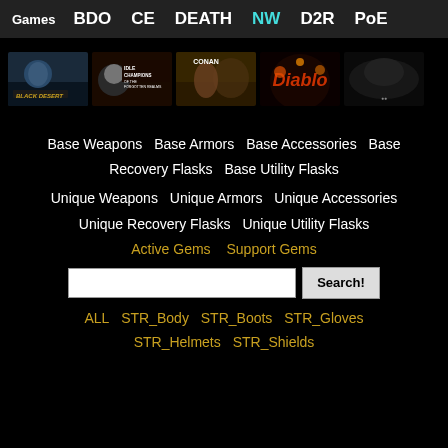Games  BDO  CE  DEATH  NW  D2R  PoE
[Figure (screenshot): Row of five game thumbnail images: Black Desert, Idle Champions of the Forgotten Realms, Conan Exiles, Diablo (fire logo), and a dark/misty game (Marrinwood or similar)]
Base Weapons  Base Armors  Base Accessories  Base Recovery Flasks  Base Utility Flasks
Unique Weapons  Unique Armors  Unique Accessories  Unique Recovery Flasks  Unique Utility Flasks
Active Gems  Support Gems
Search!
ALL  STR_Body  STR_Boots  STR_Gloves  STR_Helmets  STR_Shields